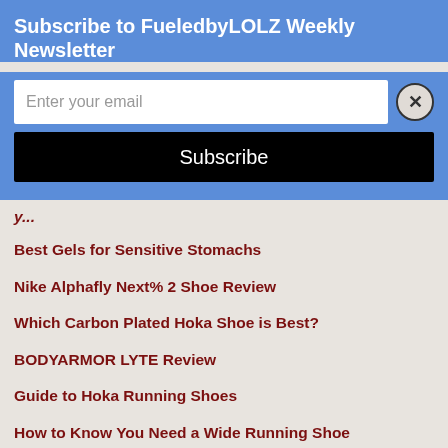Subscribe to FueledbyLOLZ Weekly Newsletter
Enter your email
Subscribe
Best Gels for Sensitive Stomachs
Nike Alphafly Next% 2 Shoe Review
Which Carbon Plated Hoka Shoe is Best?
BODYARMOR LYTE Review
Guide to Hoka Running Shoes
How to Know You Need a Wide Running Shoe
Saucony Endorphin Pro 3 Shoe Review
[Figure (photo): Blue gradient image at the bottom of the page]